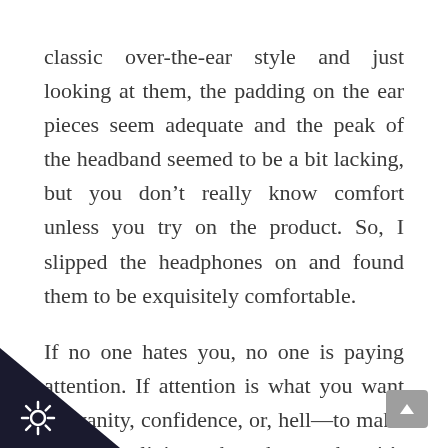classic over-the-ear style and just looking at them, the padding on the ear pieces seem adequate and the peak of the headband seemed to be a bit lacking, but you don't really know comfort unless you try on the product. So, I slipped the headphones on and found them to be exquisitely comfortable.
If no one hates you, no one is paying attention. If attention is what you want for vanity, confidence, or, hell—to make a decent living—then know that it's not spontaneous. Every single person that